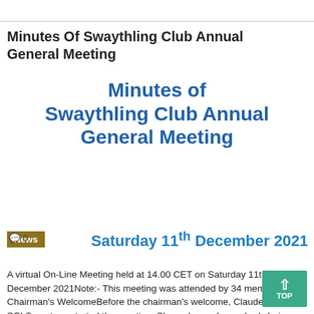Minutes Of Swaythling Club Annual General Meeting
[Figure (illustration): Large bold blue text heading reading: Minutes of Swaythling Club Annual General Meeting]
Saturday 11th December 2021
News
💬 0
A virtual On-Line Meeting held at 14.00 CET on Saturday 11th December 2021Note:- This meeting was attended by 34 members. 1 ) Chairman's WelcomeBefore the chairman's welcome, Claude Bergeret , SCI Secretary, started the meeting. She welcomed everybody being very happy to see all the participants, 30 at the moment of the start of the meeting. She informed the meeting of